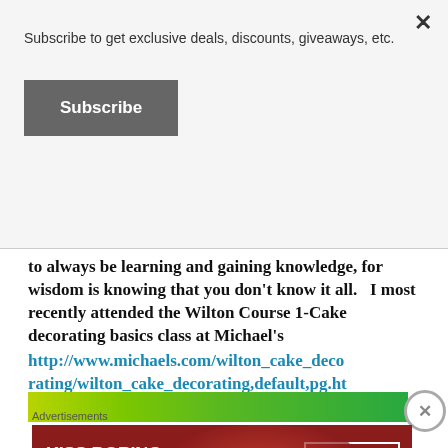Subscribe to get exclusive deals, discounts, giveaways, etc.
Subscribe
to always be learning and gaining knowledge, for wisdom is knowing that you don’t know it all.   I most recently attended the Wilton Course 1-Cake decorating basics class at Michael’s http://www.michaels.com/wilton_cake_decorating/wilton_cake_decorating,default,pg.html.
[Figure (screenshot): Advertisement banner with green gradient background, partially visible]
Advertisements
[Figure (photo): Macy's advertisement: KISS BORING LIPS GOODBYE with SHOP NOW button and Macy's star logo, dark red background with woman's face]